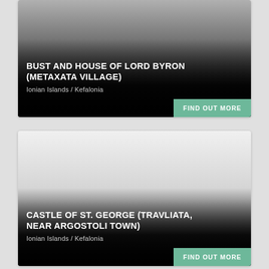[Figure (photo): Card with dark gradient overlay showing Bust and House of Lord Byron in Metaxata Village, Kefalonia]
BUST AND HOUSE OF LORD BYRON (METAXATA VILLAGE)
Ionian Islands / Kefalonia
[Figure (photo): Card with light background and dark gradient overlay showing Castle of St. George in Travliata, near Argostoli Town, Kefalonia]
CASTLE OF ST. GEORGE (TRAVLIATA, NEAR ARGOSTOLI TOWN)
Ionian Islands / Kefalonia